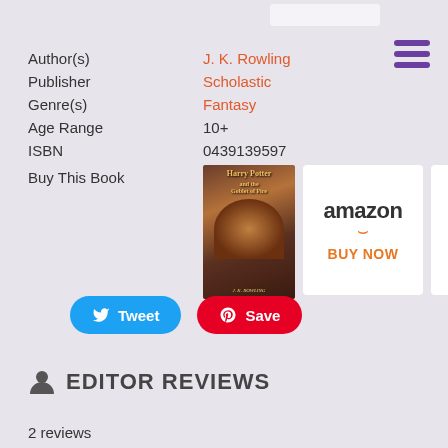| Field | Value |
| --- | --- |
| Author(s) | J. K. Rowling |
| Publisher | Scholastic |
| Genre(s) | Fantasy |
| Age Range | 10+ |
| ISBN | 0439139597 |
| Buy This Book | [images] |
[Figure (illustration): Harry Potter and the Goblet of Fire book cover, Amazon BUY NOW button, IndieBound BUY NOW button]
[Figure (infographic): Tweet button (blue) and Save button (red/Pinterest)]
EDITOR REVIEWS
2 reviews